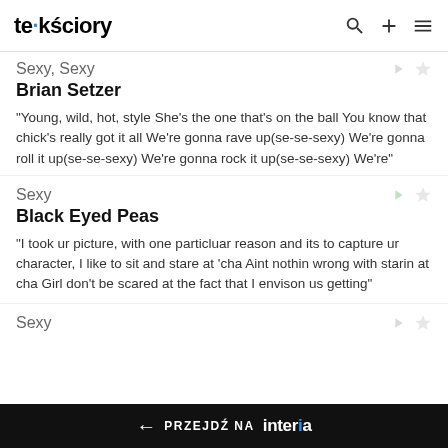tekściory
Sexy, Sexy
Brian Setzer
"Young, wild, hot, style She's the one that's on the ball You know that chick's really got it all We're gonna rave up(se-se-sexy) We're gonna roll it up(se-se-sexy) We're gonna rock it up(se-se-sexy) We're"
Sexy
Black Eyed Peas
"I took ur picture, with one particluar reason and its to capture ur character, I like to sit and stare at 'cha Aint nothin wrong with starin at cha Girl don't be scared at the fact that I envison us getting"
Sexy
← PRZEJDŹ NA interia